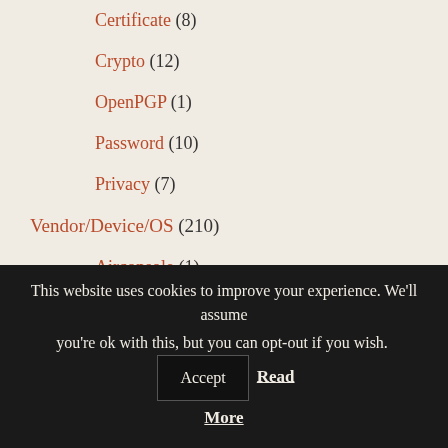Certificate (8)
Crypto (12)
OpenPGP (1)
Password (10)
Privacy (7)
Vendor/Device/OS (210)
Airconsole (1)
Android (4)
Cisco Systems (42)
Cisco ACI (1)
Cisco ASA (16)
Cisco ESA (1)
This website uses cookies to improve your experience. We'll assume you're ok with this, but you can opt-out if you wish. Accept Read More